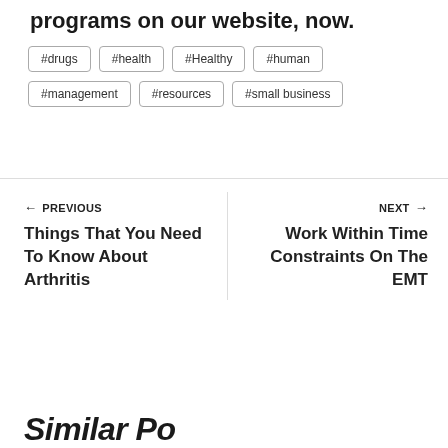programs on our website, now.
#drugs
#health
#Healthy
#human
#management
#resources
#small business
← PREVIOUS
Things That You Need To Know About Arthritis
NEXT →
Work Within Time Constraints On The EMT
Similar Po…